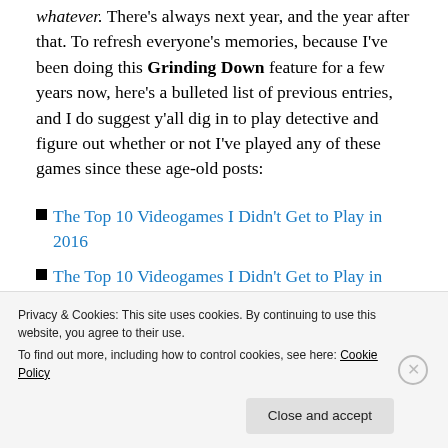whatever. There's always next year, and the year after that. To refresh everyone's memories, because I've been doing this Grinding Down feature for a few years now, here's a bulleted list of previous entries, and I do suggest y'all dig in to play detective and figure out whether or not I've played any of these games since these age-old posts:
The Top 10 Videogames I Didn't Get to Play in 2016
The Top 10 Videogames I Didn't Get to Play in 2015
The Top 10 Videogames I Didn't Get to Play in 2014
The Top 10 Videogames I Didn't Get to Play in 2013
Privacy & Cookies: This site uses cookies. By continuing to use this website, you agree to their use. To find out more, including how to control cookies, see here: Cookie Policy